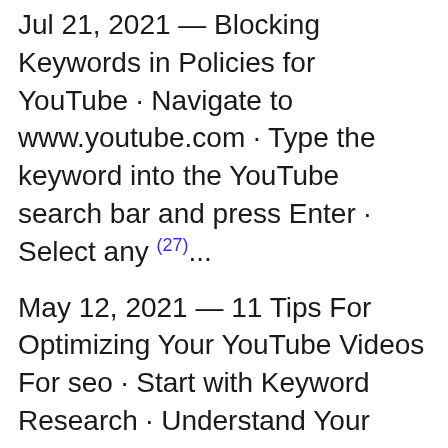Jul 21, 2021 — Blocking Keywords in Policies for YouTube · Navigate to www.youtube.com · Type the keyword into the YouTube search bar and press Enter · Select any (27)...
May 12, 2021 — 11 Tips For Optimizing Your YouTube Videos For seo · Start with Keyword Research · Understand Your Audience · Include Your Keywords in Key Places (28)...
How To Do Backlinks?
How To Boost SEO...